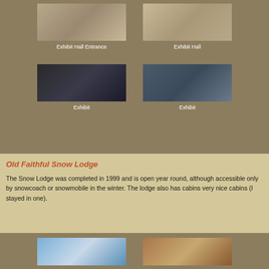[Figure (photo): Photo of Exhibit Hall Entrance interior]
Exhibit Hall Entrance
[Figure (photo): Photo of Exhibit Hall interior with displays]
Exhibit Hall
[Figure (photo): Photo of exhibit showing hydrothermal features signage]
Exhibit
[Figure (photo): Photo of exhibit display panels]
Exhibit
Old Faithful Snow Lodge
The Snow Lodge was completed in 1999 and is open year round, although accessible only by snowcoach or snowmobile in the winter. The lodge also has cabins very nice cabins (I stayed in one).
[Figure (photo): Photo of Snow Lodge exterior]
[Figure (photo): Photo of Snow Lodge interior]